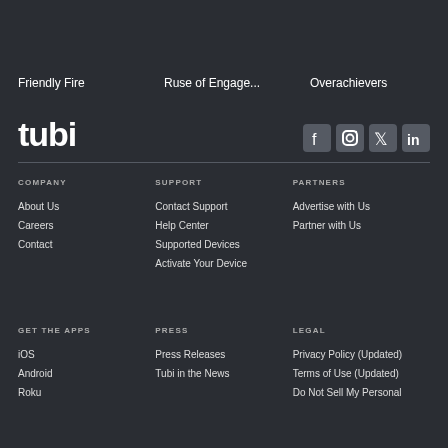Friendly Fire
Ruse of Engage...
Overachievers
[Figure (logo): Tubi streaming service logo in white text]
[Figure (infographic): Social media icons: Facebook, Instagram, Twitter, LinkedIn]
COMPANY
About Us
Careers
Contact
SUPPORT
Contact Support
Help Center
Supported Devices
Activate Your Device
PARTNERS
Advertise with Us
Partner with Us
GET THE APPS
iOS
Android
Roku
PRESS
Press Releases
Tubi in the News
LEGAL
Privacy Policy (Updated)
Terms of Use (Updated)
Do Not Sell My Personal